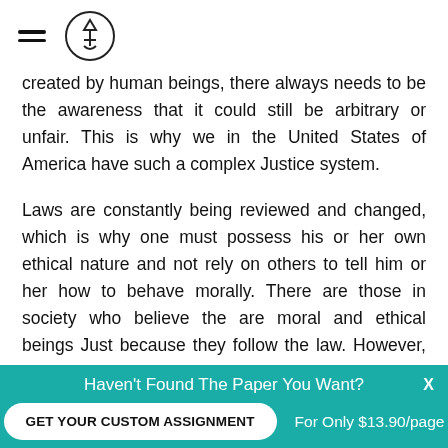[hamburger menu icon] [logo icon]
created by human beings, there always needs to be the awareness that it could still be arbitrary or unfair. This is why we in the United States of America have such a complex Justice system.
Laws are constantly being reviewed and changed, which is why one must possess his or her own ethical nature and not rely on others to tell him or her how to behave morally. There are those in society who believe the are moral and ethical beings Just because they follow the law. However, the Nazi led by Doll Hitler, was a perfect
Haven't Found The Paper You Want?
GET YOUR CUSTOM ASSIGNMENT
For Only $13.90/page